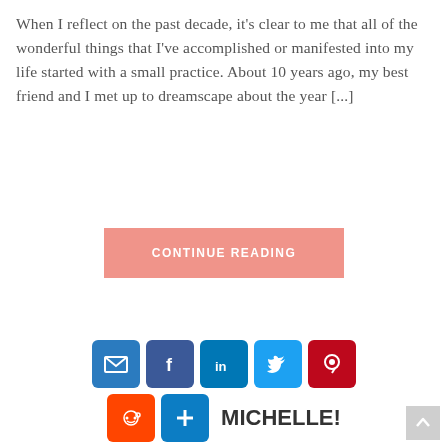When I reflect on the past decade, it's clear to me that all of the wonderful things that I've accomplished or manifested into my life started with a small practice. About 10 years ago, my best friend and I met up to dreamscape about the year [...]
CONTINUE READING
[Figure (other): Social sharing icons row 1: email (blue), Facebook (dark blue), LinkedIn (blue), Twitter (light blue), Pinterest (red); row 2: Reddit (orange), AddThis (blue) followed by bold text 'MICHELLE!']